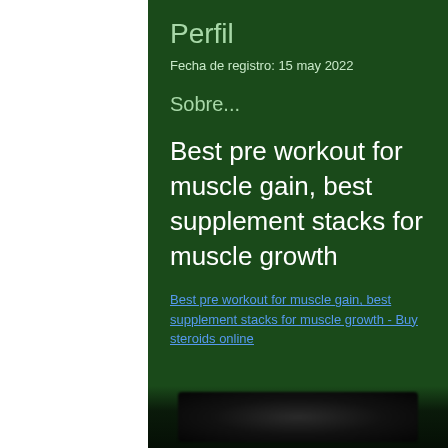Perfil
Fecha de registro: 15 may 2022
Sobre...
Best pre workout for muscle gain, best supplement stacks for muscle growth
Best pre workout for muscle gain, best supplement stacks for muscle growth - Buy steroids online
[Figure (photo): Blurred/obscured image at the bottom of the page on dark green background]